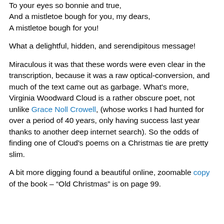To your eyes so bonnie and true,
And a mistletoe bough for you, my dears,
A mistletoe bough for you!
What a delightful, hidden, and serendipitous message!
Miraculous it was that these words were even clear in the transcription, because it was a raw optical-conversion, and much of the text came out as garbage. What's more, Virginia Woodward Cloud is a rather obscure poet, not unlike Grace Noll Crowell, (whose works I had hunted for over a period of 40 years, only having success last year thanks to another deep internet search). So the odds of finding one of Cloud's poems on a Christmas tie are pretty slim.
A bit more digging found a beautiful online, zoomable copy of the book – "Old Christmas" is on page 99.